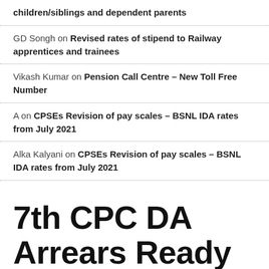children/siblings and dependent parents
GD Songh on Revised rates of stipend to Railway apprentices and trainees
Vikash Kumar on Pension Call Centre – New Toll Free Number
A on CPSEs Revision of pay scales – BSNL IDA rates from July 2021
Alka Kalyani on CPSEs Revision of pay scales – BSNL IDA rates from July 2021
7th CPC DA Arrears Ready Reckoner Tables for all Level